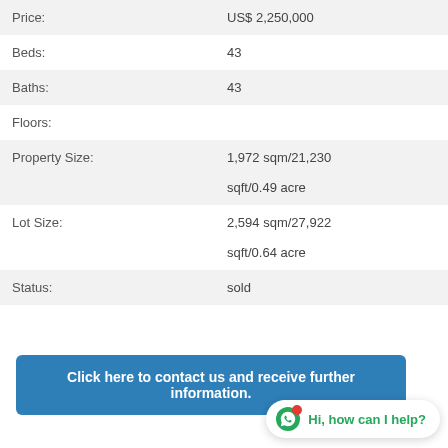| Label | Value |
| --- | --- |
| Price: | US$ 2,250,000 |
| Beds: | 43 |
| Baths: | 43 |
| Floors: |  |
| Property Size: | 1,972 sqm/21,230 sqft/0.49 acre |
| Lot Size: | 2,594 sqm/27,922 sqft/0.64 acre |
| Status: | sold |
Click here to contact us and receive further information.
Hi, how can I help?